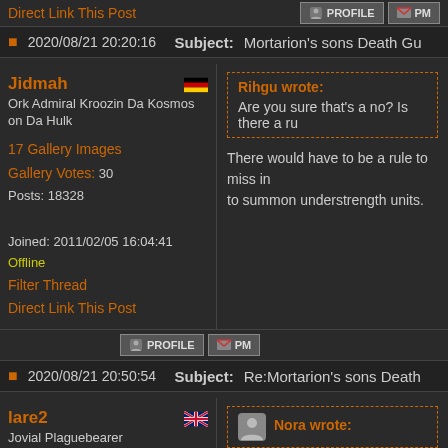Direct Link This Post
PROFILE  PM
2020/08/21 20:20:16   Subject: Mortarion's sons Death Gu
Jidmah
Ork Admiral Kroozin Da Kosmos on Da Hulk
17 Gallery Images
Gallery Votes: 30
Posts: 18328
Joined: 2011/02/05 16:04:41
Offline
Filter Thread
Direct Link This Post
Rihgu wrote:
Are you sure that's a no? Is there a ru
There would have to be a rule to miss in to summon understrength units.
PROFILE  PM
2020/08/21 20:50:54   Subject: Re:Mortarion's sons Death
lare2
Jovial Plaguebearer
Nora wrote: